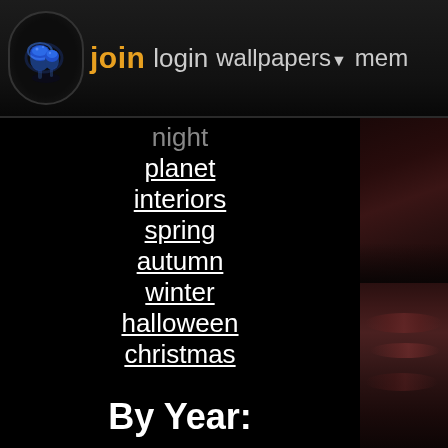join  login  wallpapers▼  memb
night
planet
interiors
spring
autumn
winter
halloween
christmas
By Year:
2021
2020
2019
2018
2017
[Figure (photo): Partially visible dark reddish-brown landscape/sky photo on the right side of the page]